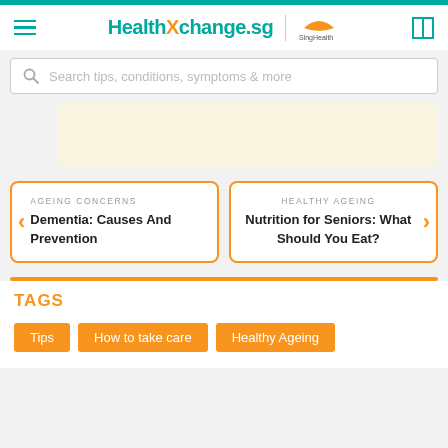HealthXchange.sg | SingHealth
Search tips, conditions, symptoms & more
[Figure (other): Light yellow advertisement or image banner area]
AGEING CONCERNS
Dementia: Causes And Prevention
HEALTHY AGEING
Nutrition for Seniors: What Should You Eat?
TAGS
Tips
How to take care
Healthy Ageing